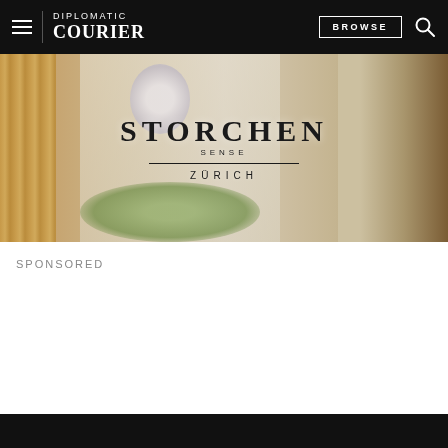DIPLOMATIC COURIER | BROWSE
[Figure (photo): Hotel room interior photo with STORCHEN SENSE ZÜRICH logo overlaid on top. Shows luxury hotel furnishings including an armchair, curtains, flowers, and a glass table with fruit.]
SPONSORED